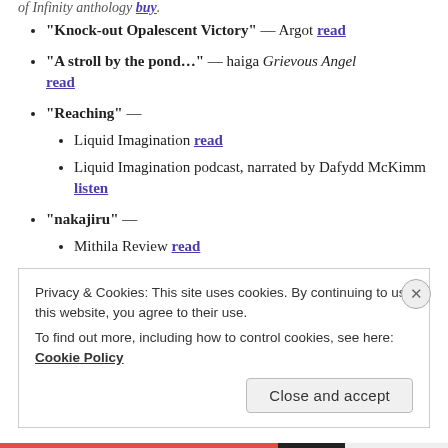of Infinity anthology buy
"Knock-out Opalescent Victory" — Argot read
"A stroll by the pond…" — haiga Grievous Angel read
"Reaching" —
Liquid Imagination read
Liquid Imagination podcast, narrated by Dafydd McKimm listen
"nakajiru" —
Mithila Review read
Privacy & Cookies: This site uses cookies. By continuing to use this website, you agree to their use. To find out more, including how to control cookies, see here: Cookie Policy
Close and accept